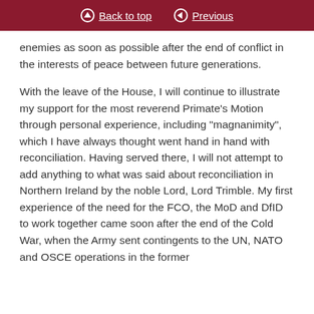Back to top | Previous
enemies as soon as possible after the end of conflict in the interests of peace between future generations.
With the leave of the House, I will continue to illustrate my support for the most reverend Primate’s Motion through personal experience, including “magnanimity”, which I have always thought went hand in hand with reconciliation. Having served there, I will not attempt to add anything to what was said about reconciliation in Northern Ireland by the noble Lord, Lord Trimble. My first experience of the need for the FCO, the MoD and DfID to work together came soon after the end of the Cold War, when the Army sent contingents to the UN, NATO and OSCE operations in the former